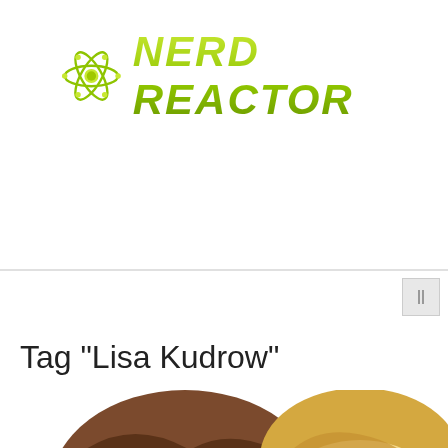[Figure (logo): Nerd Reactor logo with green atom icon and stylized italic text 'NERD REACTOR' in yellow-green gradient]
Tag "Lisa Kudrow"
[Figure (illustration): Cropped cartoon illustration showing two animated character faces with closed eyes — one with brown hair on the left, one with blonde/golden hair on the right, against a white background]